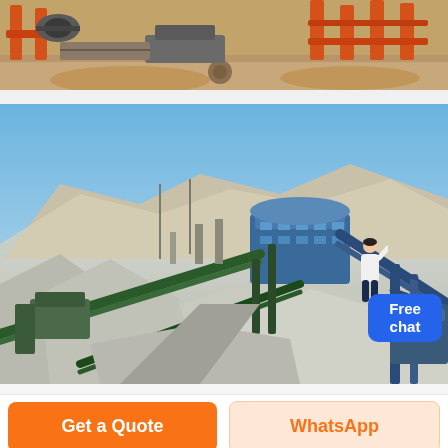[Figure (photo): Top partial view of industrial mining/crushing equipment with orange metal frames and conveyor machinery on sandy ground]
[Figure (photo): Large quarry/stone crushing plant facility with conveyor belts, blue processing structures, gravel piles, and mountains in background under blue sky. A 'Free chat' badge is overlaid in the upper right area.]
Free chat
Get a Quote
WhatsApp